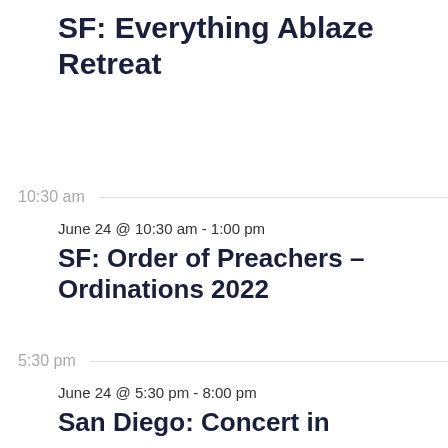SF: Everything Ablaze Retreat
10:30 am
June 24 @ 10:30 am - 1:00 pm
SF: Order of Preachers – Ordinations 2022
5:30 pm
June 24 @ 5:30 pm - 8:00 pm
San Diego: Concert in